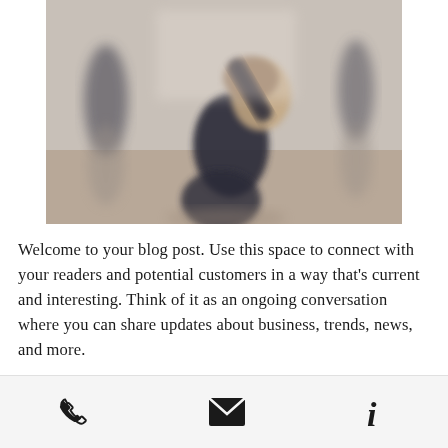[Figure (photo): Blurred photo of a person in dark athletic wear performing a yoga or pilates pose, leaning sideways with one arm raised, in a studio with other people in the background]
Welcome to your blog post. Use this space to connect with your readers and potential customers in a way that's current and interesting. Think of it as an ongoing conversation where you can share updates about business, trends, news, and more.
[Figure (infographic): Footer bar with three icons: a phone icon, an envelope/email icon, and an information (i) icon]